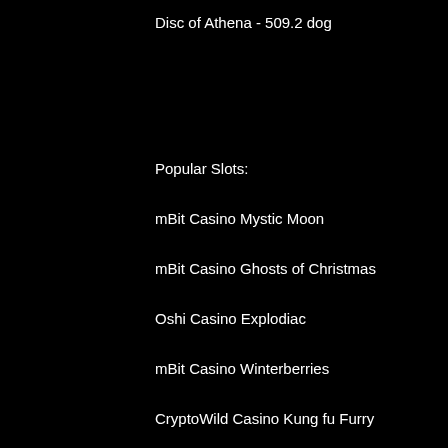Disc of Athena - 509.2 dog
Popular Slots:
mBit Casino Mystic Moon
mBit Casino Ghosts of Christmas
Oshi Casino Explodiac
mBit Casino Winterberries
CryptoWild Casino Kung fu Furry
CryptoWild Casino Burning Stars
Betcoin.ag Casino Ocean Princess
Bspin.io Casino Red Chilli
BitcoinCasino.us Batman and Catwoman Cash
BitcoinCasino.us Ariana
Sportsbet.io The Wild Chase
Mars Casino Gems Gone Wild
Bspin.io Casino Duck of Luck Returns
CryptoGames Terminator 2
BitcoinCasino.us Mad Mad Monkey